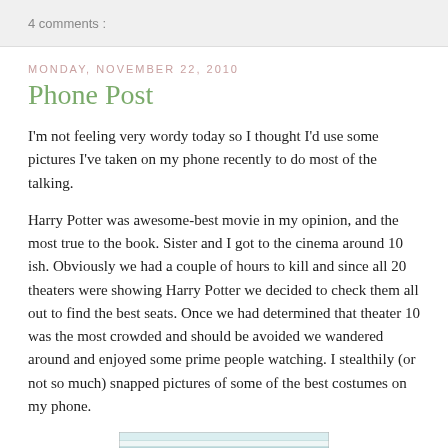4 comments :
MONDAY, NOVEMBER 22, 2010
Phone Post
I'm not feeling very wordy today so I thought I'd use some pictures I've taken on my phone recently to do most of the talking.
Harry Potter was awesome-best movie in my opinion, and the most true to the book. Sister and I got to the cinema around 10 ish. Obviously we had a couple of hours to kill and since all 20 theaters were showing Harry Potter we decided to check them all out to find the best seats. Once we had determined that theater 10 was the most crowded and should be avoided we wandered around and enjoyed some prime people watching. I stealthily (or not so much) snapped pictures of some of the best costumes on my phone.
[Figure (photo): A partial photo showing blue and white stripes at the top and a brown/tan color at the bottom, cropped at the page edge.]